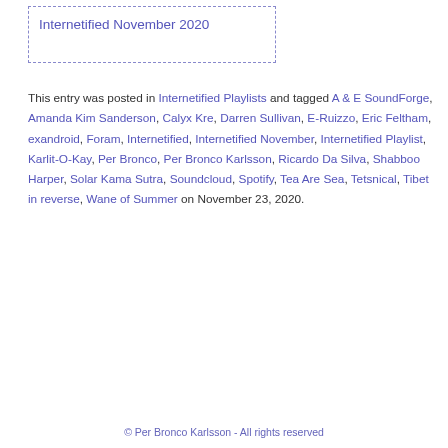Internetified November 2020
This entry was posted in Internetified Playlists and tagged A & E SoundForge, Amanda Kim Sanderson, Calyx Kre, Darren Sullivan, E-Ruizzo, Eric Feltham, exandroid, Foram, Internetified, Internetified November, Internetified Playlist, Karlit-O-Kay, Per Bronco, Per Bronco Karlsson, Ricardo Da Silva, Shabboo Harper, Solar Kama Sutra, Soundcloud, Spotify, Tea Are Sea, Tetsnical, Tibet in reverse, Wane of Summer on November 23, 2020.
© Per Bronco Karlsson - All rights reserved